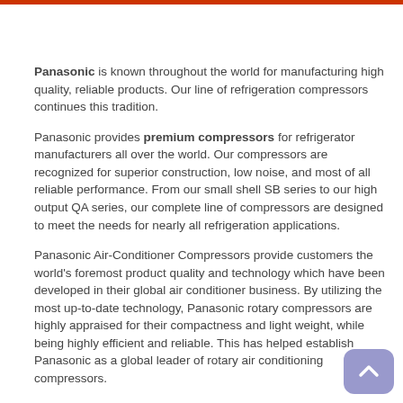Panasonic is known throughout the world for manufacturing high quality, reliable products. Our line of refrigeration compressors continues this tradition.
Panasonic provides premium compressors for refrigerator manufacturers all over the world. Our compressors are recognized for superior construction, low noise, and most of all reliable performance. From our small shell SB series to our high output QA series, our complete line of compressors are designed to meet the needs for nearly all refrigeration applications.
Panasonic Air-Conditioner Compressors provide customers the world's foremost product quality and technology which have been developed in their global air conditioner business. By utilizing the most up-to-date technology, Panasonic rotary compressors are highly appraised for their compactness and light weight, while being highly efficient and reliable. This has helped establish Panasonic as a global leader of rotary air conditioning compressors.
Panasonic Rotary Compressors have been installed